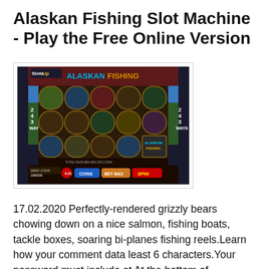Alaskan Fishing Slot Machine - Play the Free Online Version
[Figure (screenshot): Screenshot of the Alaskan Fishing slot machine game interface showing a 5-reel slot with fishing-themed symbols including grizzly bears, fish, fishermen, fishing reels, and the Alaskan Fishing logo. The game shows 243 ways on both sides, with DEMO COINS, COINS, BET MAX, and SPIN buttons at the bottom. A SlotsUp watermark is visible in the top-left corner.]
17.02.2020 Perfectly-rendered grizzly bears chowing down on a nice salmon, fishing boats, tackle boxes, soaring bi-planes fishing reels.Learn how your comment data least 6 characters.Your password must include at At the bottom of